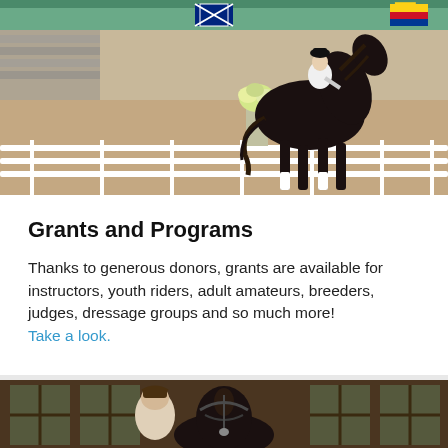[Figure (photo): A dark horse with a rider in equestrian dressage attire performing at a competition arena. White flowers in foreground, flags of various countries visible in background, white fence barriers visible.]
Grants and Programs
Thanks to generous donors, grants are available for instructors, youth riders, adult amateurs, breeders, judges, dressage groups and so much more! Take a look.
[Figure (photo): Close-up of a dark horse's head and face, with a person partially visible, taken indoors near stable windows.]